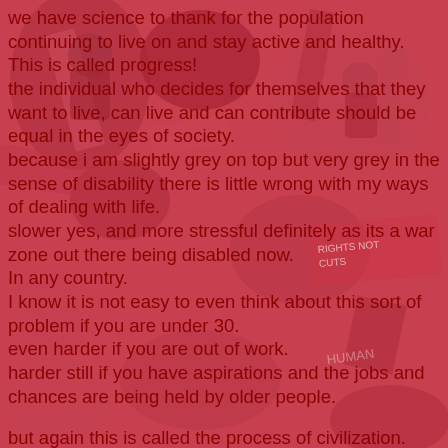[Figure (photo): Background photo of a protest/rally crowd with red banners and signs, partially obscured, used as a watermark-style background behind the text.]
we have science to thank for the population continuing to live on and stay active and healthy.
This is called progress!
the individual who decides for themselves that they want to live, can live and can contribute should be equal in the eyes of society.
because i am slightly grey on top but very grey in the sense of disability there is little wrong with my ways of dealing with life.
slower yes, and more stressful definitely as its a war zone out there being disabled now.
In any country.
I know it is not easy to even think about this sort of problem if you are under 30.
even harder if you are out of work.
harder still if you have aspirations and the jobs and chances are being held by older people.

but again this is called the process of civilization.
let the individual wrinklie live on.
for sure the wrinklie has contributed and can be a stalwart of society in many ways